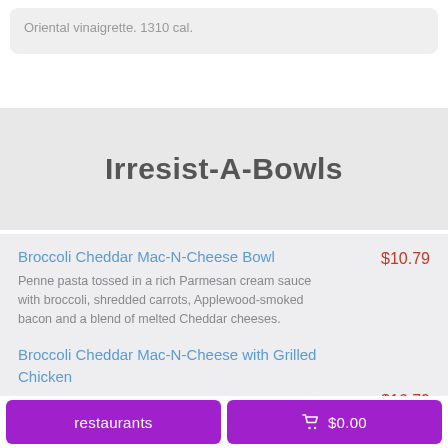Oriental vinaigrette. 1310 cal.
Irresist-A-Bowls
Broccoli Cheddar Mac-N-Cheese Bowl  $10.79
Penne pasta tossed in a rich Parmesan cream sauce with broccoli, shredded carrots, Applewood-smoked bacon and a blend of melted Cheddar cheeses.
Broccoli Cheddar Mac-N-Cheese with Grilled Chicken  $16.79
Penne pasta tossed in a rich Parmesan cream sauce
restaurants
$0.00